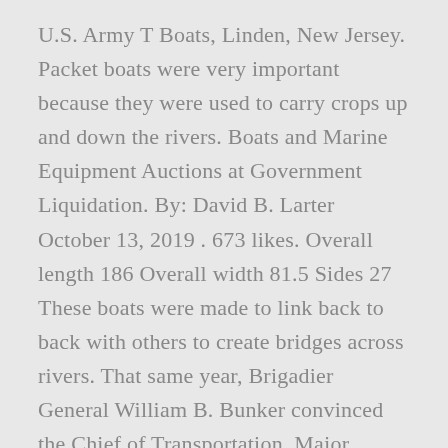U.S. Army T Boats, Linden, New Jersey. Packet boats were very important because they were used to carry crops up and down the rivers. Boats and Marine Equipment Auctions at Government Liquidation. By: David B. Larter October 13, 2019 . 673 likes. Overall length 186 Overall width 81.5 Sides 27 These boats were made to link back to back with others to create bridges across rivers. That same year, Brigadier General William B. Bunker convinced the Chief of Transportation, Major General Frank S. Besson, Jr., of the importance of helicopters in logistics. Boats and Marine Equipment auctions are now in progress. The link below provides additional history on the boat if you are interested. This 19.6 Bailey Bridge Boat is...